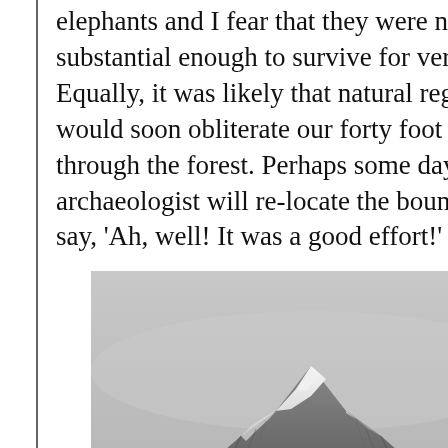elephants and I fear that they were not substantial enough to survive for very long. Equally, it was likely that natural regeneration would soon obliterate our forty foot wide cut through the forest. Perhaps some day an archaeologist will re-locate the boundary and say, 'Ah, well! It was a good effort!'
[Figure (photo): Black and white photograph of Mount Kilimanjaro showing its snow-capped summit]
Mount Kilimanjaro
Another of my once-in-a-lifetime tasks, in 1952, was to take part in the re-heighting of Kilimanjaro. This involved having two surveyors on the summit of Kabo (the higher of